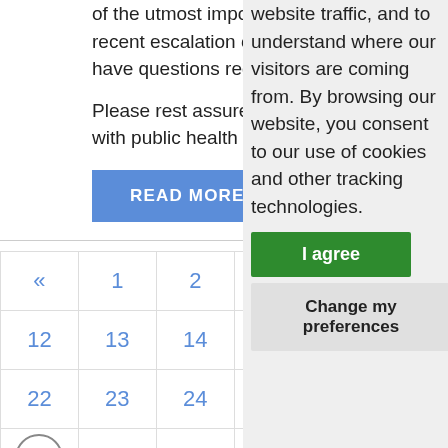of the utmost importance to recent escalation of Covid-19 have questions regarding its
Please rest assured we're mo with public health policies, ...
READ MORE
| « | 1 | 2 | 3 | 4 | 5 | 6 |
| --- | --- | --- | --- | --- | --- | --- |
| 12 | 13 | 14 | 15 | 16 | 1 |  |
| 22 | 23 | 24 | 25 | 26 | 2 |  |
|  | 33 | 34 | 35 | 36 | 3 |  |
website traffic, and to understand where our visitors are coming from. By browsing our website, you consent to our use of cookies and other tracking technologies.
I agree
Change my preferences